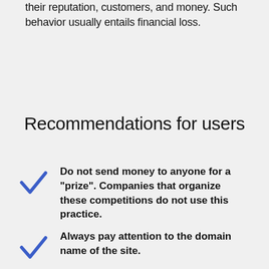their reputation, customers, and money. Such behavior usually entails financial loss.
Recommendations for users
Do not send money to anyone for a "prize". Companies that organize these competitions do not use this practice.
Always pay attention to the domain name of the site.